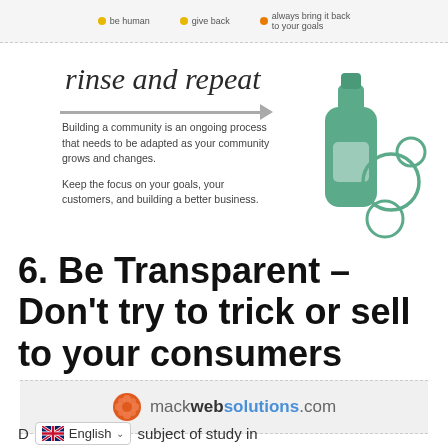[Figure (infographic): Top strip with bullet points: 'be human', 'give back', 'always bring it back to your goals']
[Figure (infographic): Rinse and repeat section with cursive title, arrow, descriptive text, and illustration of a shampoo bottle with bubbles]
[Figure (logo): mackwebsolutions.com logo with orange flower icon on grey banner]
6. Be Transparent – Don't try to trick or sell to your consumers
D [English language selector dropdown] subject of study in